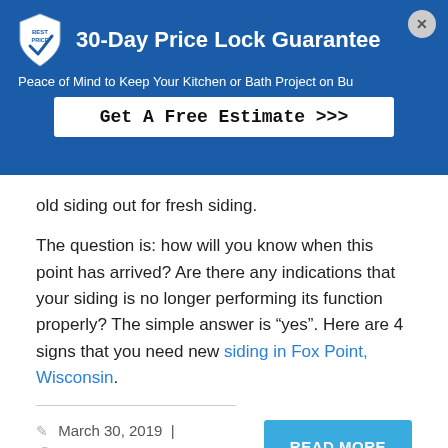[Figure (infographic): 30-Day Price Lock Guarantee banner with shield logo, subtitle 'Peace of Mind to Keep Your Kitchen or Bath Project on Budget', and a 'Get A Free Estimate >>>' call-to-action button. A close (X) button is in the top-right corner.]
old siding out for fresh siding.
The question is: how will you know when this point has arrived? Are there any indications that your siding is no longer performing its function properly? The simple answer is “yes”. Here are 4 signs that you need new siding in Fox Point, Wisconsin.
March 30, 2019  |
No Comments  |
READ MORE